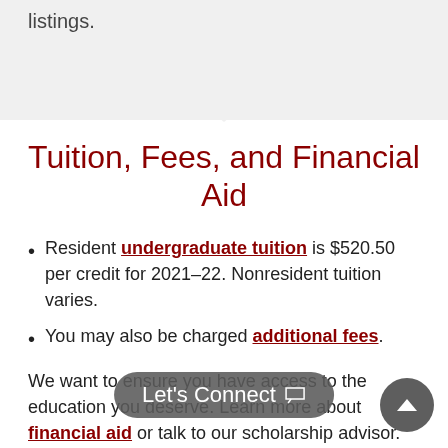listings.
Tuition, Fees, and Financial Aid
Resident undergraduate tuition is $520.50 per credit for 2021–22. Nonresident tuition varies.
You may also be charged additional fees.
We want to ensure you have access to the education you deserve. Learn more about financial aid or talk to our scholarship advisor.